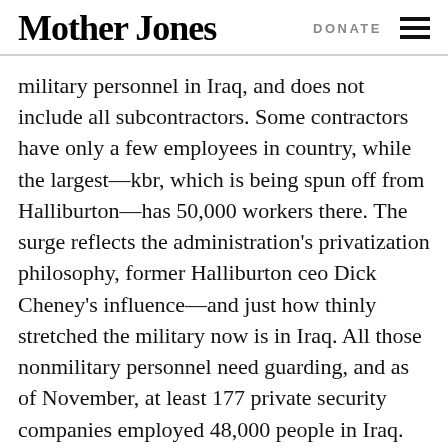Mother Jones | DONATE
military personnel in Iraq, and does not include all subcontractors. Some contractors have only a few employees in country, while the largest—kbr, which is being spun off from Halliburton—has 50,000 workers there. The surge reflects the administration's privatization philosophy, former Halliburton ceo Dick Cheney's influence—and just how thinly stretched the military now is in Iraq. All those nonmilitary personnel need guarding, and as of November, at least 177 private security companies employed 48,000 people in Iraq. The State Department reports that security costs account for 16 to 22 percent of reconstruction projects—a considerable part of the overruns plaguing such